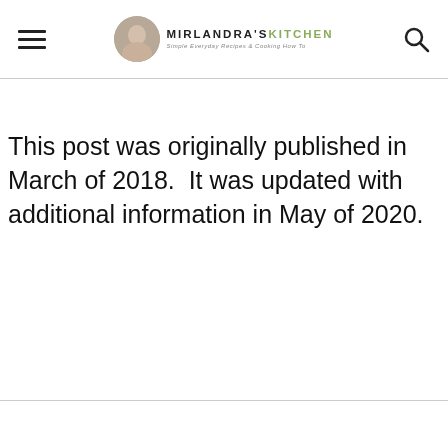MIRLANDRA'S KITCHEN — Simple Everyday Recipes & Cooking How To
This post was originally published in March of 2018.  It was updated with additional information in May of 2020.